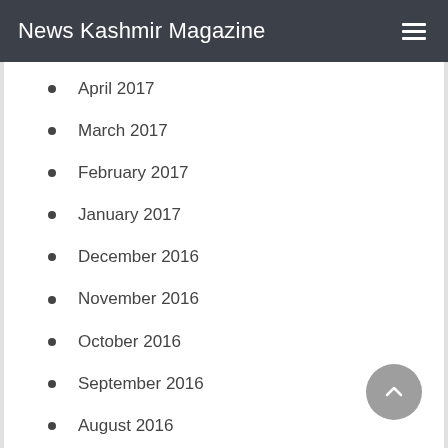News Kashmir Magazine
April 2017
March 2017
February 2017
January 2017
December 2016
November 2016
October 2016
September 2016
August 2016
July 2016
June 2016
May 2016